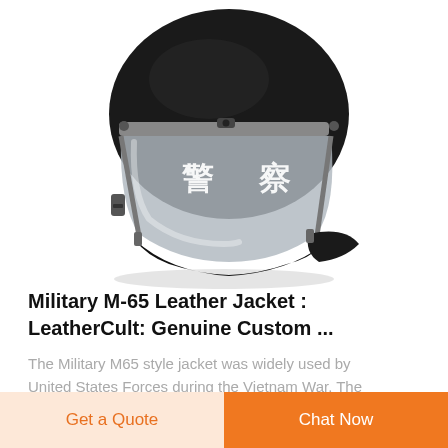[Figure (photo): Black police/riot helmet with clear visor and brim, Chinese characters 警察 (police) on the front, shown against a white background.]
Military M-65 Leather Jacket : LeatherCult: Genuine Custom ...
The Military M65 style jacket was widely used by United States Forces during the Vietnam War. The